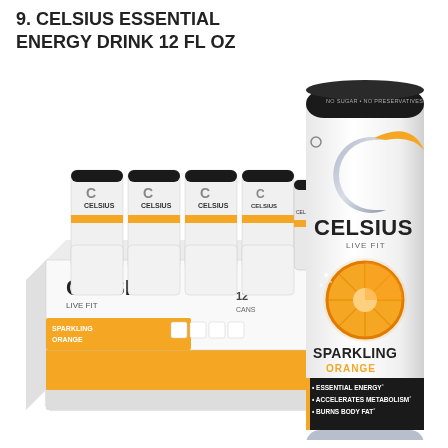9. CELSIUS ESSENTIAL ENERGY DRINK 12 FL OZ
[Figure (photo): Product photo showing a case of 12 CELSIUS Sparkling Orange Essential Energy Drink cans (12 fl oz each) alongside a single upright can. The can is white with a large silver C logo, orange accent, and an orange fruit graphic. The label reads: CELSIUS LIVE FIT, SPARKLING ORANGE, ESSENTIAL ENERGY, ACCELERATES METABOLISM, BURNS BODY FAT, 0 SUGAR, DIETARY SUPPLEMENT, 12 FL OZ 355mL. The case box also reads CELSIUS LIVE FIT, SPARKLING ORANGE, 12 CANS.]